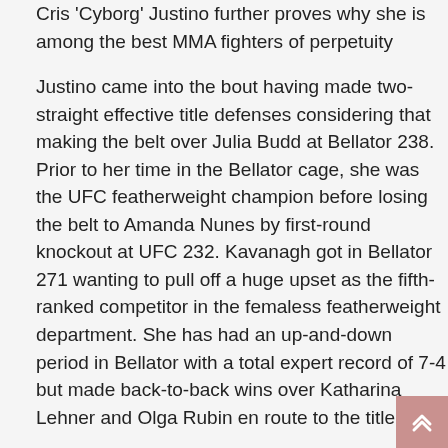Cris 'Cyborg' Justino further proves why she is among the best MMA fighters of perpetuity
Justino came into the bout having made two-straight effective title defenses considering that making the belt over Julia Budd at Bellator 238. Prior to her time in the Bellator cage, she was the UFC featherweight champion before losing the belt to Amanda Nunes by first-round knockout at UFC 232. Kavanagh got in Bellator 271 wanting to pull off a huge upset as the fifth-ranked competitor in the femaless featherweight department. She has had an up-and-down period in Bellator with a total expert record of 7-4 but made back-to-back wins over Katharina Lehner and Olga Rubin en route to the title shot.